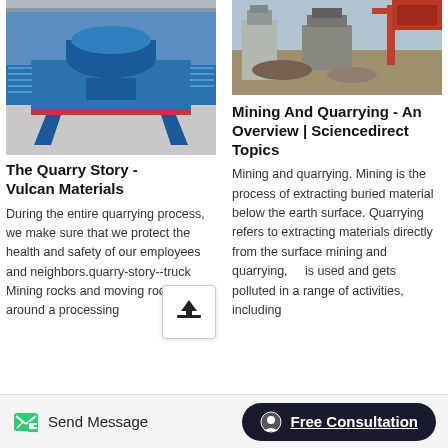[Figure (photo): Blue industrial mining/quarrying machine (vertical shaft impact crusher) in a warehouse/industrial setting]
[Figure (photo): Mining/quarrying equipment and machinery at an outdoor industrial site]
The Quarry Story - Vulcan Materials
During the entire quarrying process, we make sure that we protect the health and safety of our employees and neighbors.quarry-story--truck Mining rocks and moving rocks around a processing
Mining And Quarrying - An Overview | Sciencedirect Topics
Mining and quarrying. Mining is the process of extracting buried material below the earth surface. Quarrying refers to extracting materials directly from the surface mining and quarrying, is used and gets polluted in a range of activities, including
Send Message   Free Consultation